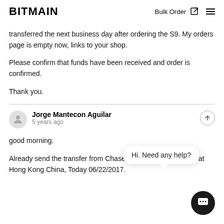BITMAIN | Bulk Order
transferred the next business day after ordering the S9. My orders page is empty now, links to your shop.
Please confirm that funds have been received and order is confirmed.
Thank you.
Jorge Mantecon Aguilar
5 years ago
good morning.
Already send the transfer from Chase Bank to Standart bank at Hong Kong China, Today 06/22/2017.